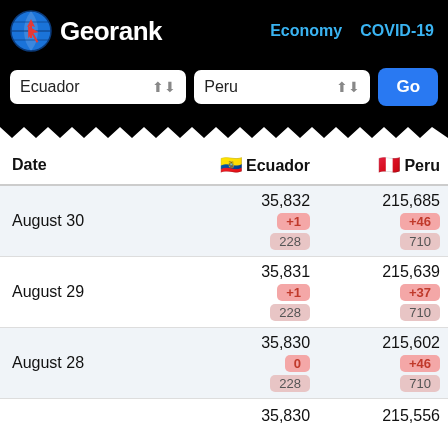Georank — Economy COVID-19
[Figure (screenshot): Search interface with Ecuador and Peru dropdowns and Go button]
| Date | 🇪🇨 Ecuador | 🇵🇪 Peru |
| --- | --- | --- |
| August 30 | 35,832 / +1 / 228 | 215,685 / +46 / 710 |
| August 29 | 35,831 / +1 / 228 | 215,639 / +37 / 710 |
| August 28 | 35,830 / 0 / 228 | 215,602 / +46 / 710 |
| (next) | 35,830 | 215,556 |